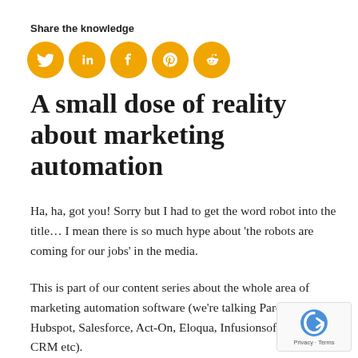Share the knowledge
[Figure (illustration): Five social media sharing icons (Twitter, LinkedIn, Facebook, Pinterest, Reddit) shown as gold/amber circular buttons with white icons.]
A small dose of reality about marketing automation
Ha, ha, got you! Sorry but I had to get the word robot into the title… I mean there is so much hype about 'the robots are coming for our jobs' in the media.
This is part of our content series about the whole area of marketing automation software (we're talking Pardot, Hubspot, Salesforce, Act-On, Eloqua, Infusionsoft, S CRM etc).